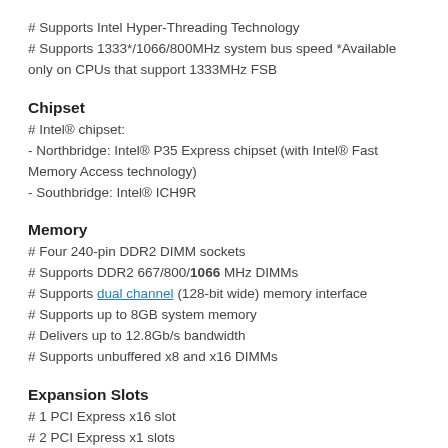# Supports Intel Hyper-Threading Technology
# Supports 1333*/1066/800MHz system bus speed *Available only on CPUs that support 1333MHz FSB
Chipset
# Intel® chipset:
- Northbridge: Intel® P35 Express chipset (with Intel® Fast Memory Access technology)
- Southbridge: Intel® ICH9R
Memory
# Four 240-pin DDR2 DIMM sockets
# Supports DDR2 667/800/1066 MHz DIMMs
# Supports dual channel (128-bit wide) memory interface
# Supports up to 8GB system memory
# Delivers up to 12.8Gb/s bandwidth
# Supports unbuffered x8 and x16 DIMMs
Expansion Slots
# 1 PCI Express x16 slot
# 2 PCI Express x1 slots
# 3 PCI slots